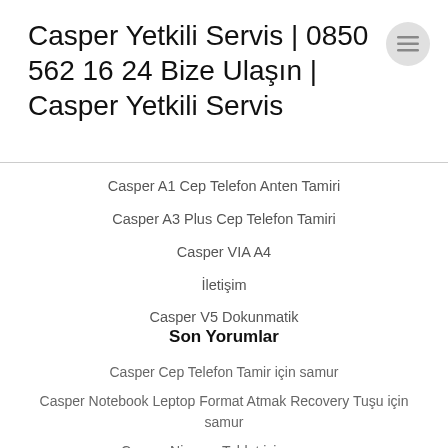Casper Yetkili Servis | 0850 562 16 24 Bize Ulaşın | Casper Yetkili Servis
Casper A1 Cep Telefon Anten Tamiri
Casper A3 Plus Cep Telefon Tamiri
Casper VIA A4
İletişim
Casper V5 Dokunmatik
Son Yorumlar
Casper Cep Telefon Tamir için samur
Casper Notebook Leptop Format Atmak Recovery Tuşu için samur
Casper Nirvana Tablet için samur